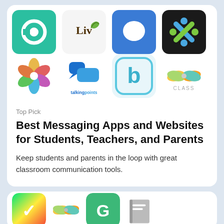[Figure (illustration): Grid of 8 app icons: Classkick (green C), Liv (brown Liv with leaf), Brainpop (blue brain), Seesaw (black X icon), Pearson (colorful flower), TalkingPoints (blue chat bubbles), Blackboard (b in rounded square), CLASS (ribbon bow icon)]
Top Pick
Best Messaging Apps and Websites for Students, Teachers, and Parents
Keep students and parents in the loop with great classroom communication tools.
[Figure (illustration): Partial row of app icons at bottom: colorful icon, ribbon/butterfly icon, green icon, grey book icon]